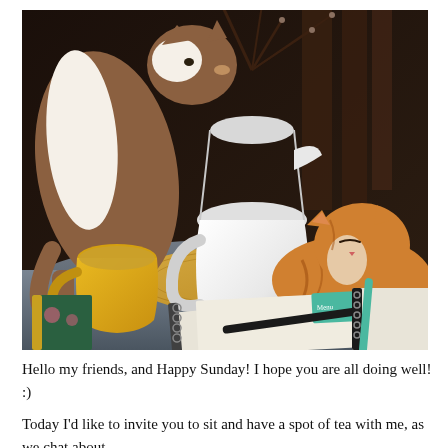[Figure (photo): A cozy table scene with two cats — one brown-and-white cat standing on the left sniffing a white ceramic pitcher/vase containing dried branches, and one orange-and-white tabby cat on the right resting near the same pitcher. On the table are a yellow coffee mug, a woven placemat, spiral-bound notebooks, a pen, and some papers/planners. The background is dark.]
Hello my friends, and Happy Sunday! I hope you are all doing well! :)
Today I'd like to invite you to sit and have a spot of tea with me, as we chat about